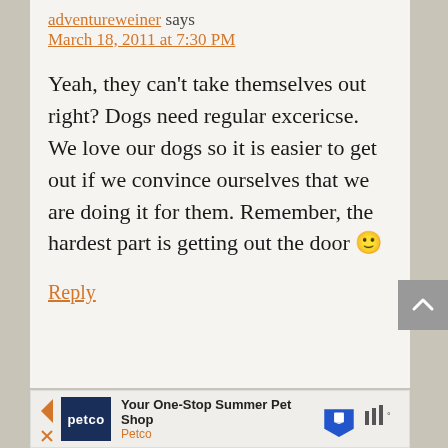adventureweiner says
March 18, 2011 at 7:30 PM
Yeah, they can't take themselves out right? Dogs need regular excericse. We love our dogs so it is easier to get out if we convince ourselves that we are doing it for them. Remember, the hardest part is getting out the door 🙂
Reply
[Figure (infographic): Petco advertisement banner: Your One-Stop Summer Pet Shop, Petco logo and map pin icon]